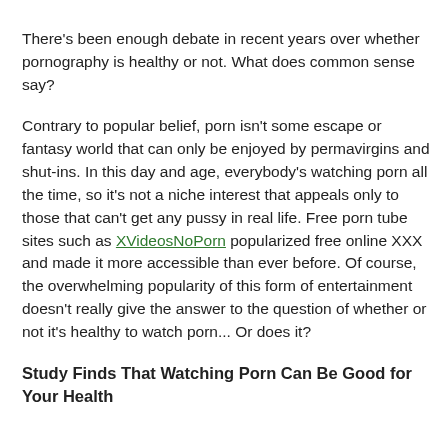There's been enough debate in recent years over whether pornography is healthy or not. What does common sense say?
Contrary to popular belief, porn isn't some escape or fantasy world that can only be enjoyed by permavirgins and shut-ins. In this day and age, everybody's watching porn all the time, so it's not a niche interest that appeals only to those that can't get any pussy in real life. Free porn tube sites such as XVideosNoPorn popularized free online XXX and made it more accessible than ever before. Of course, the overwhelming popularity of this form of entertainment doesn't really give the answer to the question of whether or not it's healthy to watch porn... Or does it?
Study Finds That Watching Porn Can Be Good for Your Health